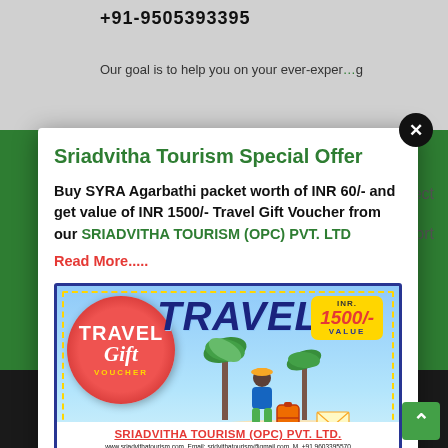+91-9505393395
Our goal is to help you on your ever-exper…g
Sriadvitha Tourism Special Offer
Buy SYRA Agarbathi packet worth of INR 60/- and get value of INR 1500/- Travel Gift Voucher from our SRIADVITHA TOURISM (OPC) PVT. LTD
Read More.....
[Figure (infographic): Travel Gift Voucher image for Sriadvitha Tourism (OPC) Pvt. Ltd. showing INR 1500/- value, with a man with luggage on a beach scene, palm trees, and company contact info. Note: GIFT Voucher validity for 3 years up to December,2024. One GIFT Voucher is validity for one Tour Package only.]